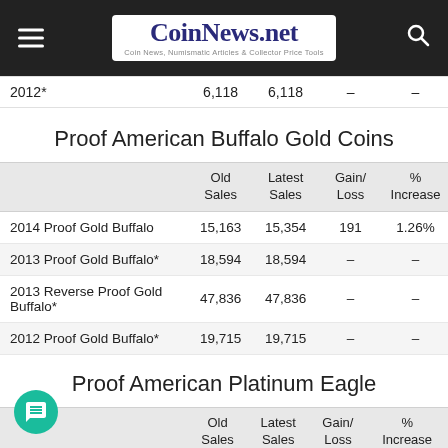CoinNews.net — Coin News, Numismatic Articles & Collector Price Tools
|  | Old Sales | Latest Sales | Gain/Loss | % Increase |
| --- | --- | --- | --- | --- |
| 2012* | 6,118 | 6,118 | – | – |
Proof American Buffalo Gold Coins
|  | Old Sales | Latest Sales | Gain/Loss | % Increase |
| --- | --- | --- | --- | --- |
| 2014 Proof Gold Buffalo | 15,163 | 15,354 | 191 | 1.26% |
| 2013 Proof Gold Buffalo* | 18,594 | 18,594 | – | – |
| 2013 Reverse Proof Gold Buffalo* | 47,836 | 47,836 | – | – |
| 2012 Proof Gold Buffalo* | 19,715 | 19,715 | – | – |
Proof American Platinum Eagle
|  | Old Sales | Latest Sales | Gain/Loss | % Increase |
| --- | --- | --- | --- | --- |